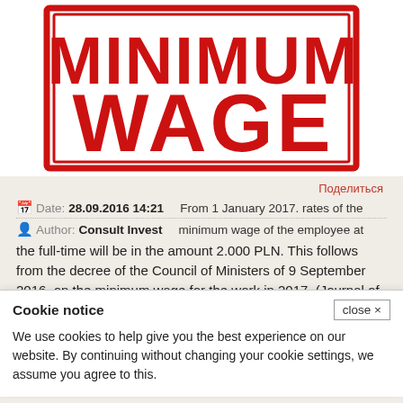[Figure (illustration): Red rubber stamp graphic reading MINIMUM WAGE in large bold distressed letters with a rectangular border, on white background]
Поделиться
Date: 28.09.2016 14:21
Author: Consult Invest
From 1 January 2017. rates of the minimum wage of the employee at the full-time will be in the amount 2.000 PLN. This follows from the decree of the Council of Ministers of 9 September 2016. on the minimum wage for the work in 2017. (Journal of
Cookie notice
close ×
We use cookies to help give you the best experience on our website. By continuing without changing your cookie settings, we assume you agree to this.
will no longer oblige the law of the minimum wage for the